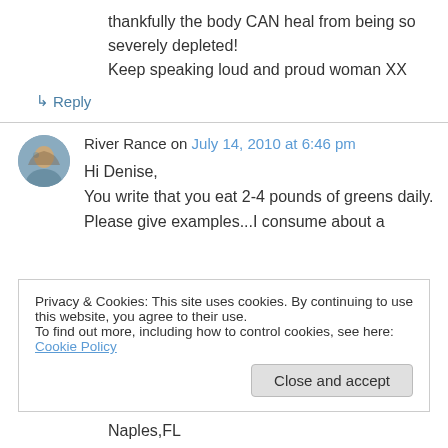thankfully the body CAN heal from being so severely depleted!
Keep speaking loud and proud woman XX
↳ Reply
River Rance on July 14, 2010 at 6:46 pm
Hi Denise,
You write that you eat 2-4 pounds of greens daily. Please give examples...I consume about a
Privacy & Cookies: This site uses cookies. By continuing to use this website, you agree to their use.
To find out more, including how to control cookies, see here: Cookie Policy
Close and accept
Naples,FL